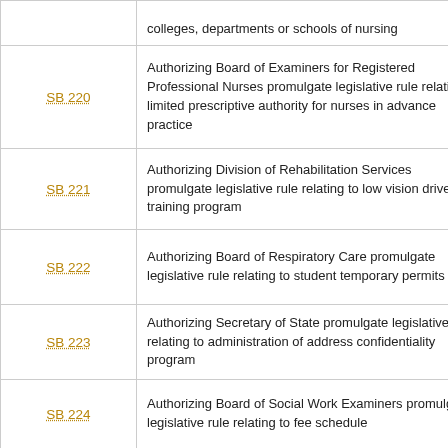| Bill | Description |
| --- | --- |
| (partial) | colleges, departments or schools of nursing |
| SB 220 | Authorizing Board of Examiners for Registered Professional Nurses promulgate legislative rule relating to limited prescriptive authority for nurses in advance practice |
| SB 221 | Authorizing Division of Rehabilitation Services promulgate legislative rule relating to low vision driver training program |
| SB 222 | Authorizing Board of Respiratory Care promulgate legislative rule relating to student temporary permits |
| SB 223 | Authorizing Secretary of State promulgate legislative rule relating to administration of address confidentiality program |
| SB 224 | Authorizing Board of Social Work Examiners promulgate legislative rule relating to fee schedule |
| SB 225 | Authorizing State Tax Department promulgate legislative rule relating to combined returns pursuant to investigation by Tax Commissioner |
| SB 226 | Authorizing State Tax Department promulgate legislative rule relating to filing (partial)... |